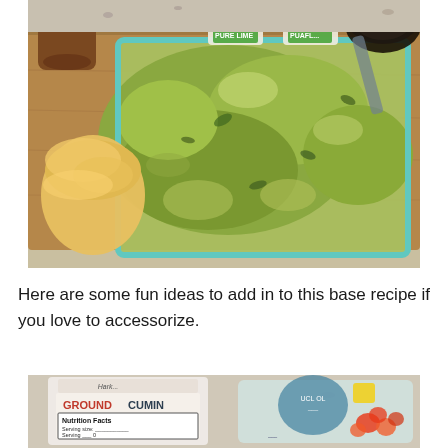[Figure (photo): A glass baking dish filled with chunky guacamole on a wooden cutting board, surrounded by tortilla chips in a glass bowl, a wooden mortar, an avocado, and two jars of ingredient products on a granite countertop.]
Here are some fun ideas to add in to this base recipe if you love to accessorize.
[Figure (photo): Partial view of two items: a bottle of ground cumin with nutrition facts label visible, and a plastic bag containing small colorful cherry tomatoes.]